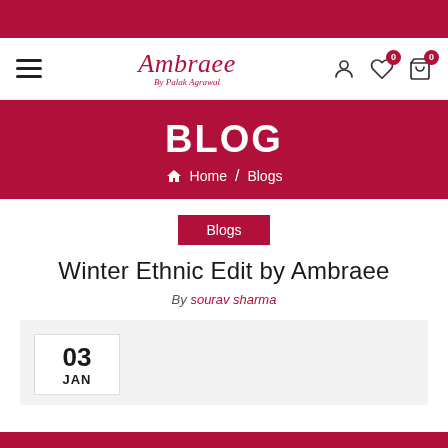Ambraee By Palak Agrawal — navigation bar with hamburger menu, logo, user/wishlist/cart icons
BLOG
Home / Blogs
Blogs
Winter Ethnic Edit by Ambraee
By sourav sharma
03 JAN